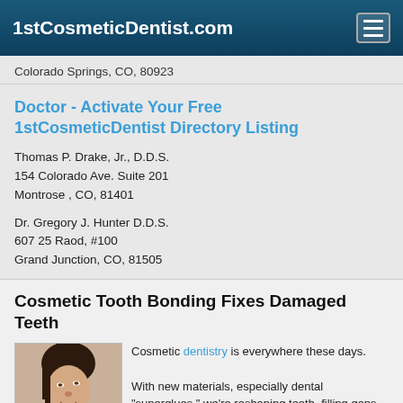1stCosmeticDentist.com
Colorado Springs, CO, 80923
Doctor - Activate Your Free 1stCosmeticDentist Directory Listing
Thomas P. Drake, Jr., D.D.S.
154 Colorado Ave. Suite 201
Montrose , CO, 81401
Dr. Gregory J. Hunter D.D.S.
607 25 Raod, #100
Grand Junction, CO, 81505
Cosmetic Tooth Bonding Fixes Damaged Teeth
[Figure (photo): Woman smiling, looking upward, portrait photo]
Cosmetic dentistry is everywhere these days.

With new materials, especially dental "superglues," we're reshaping teeth, filling gaps between teeth, restoring broken teeth